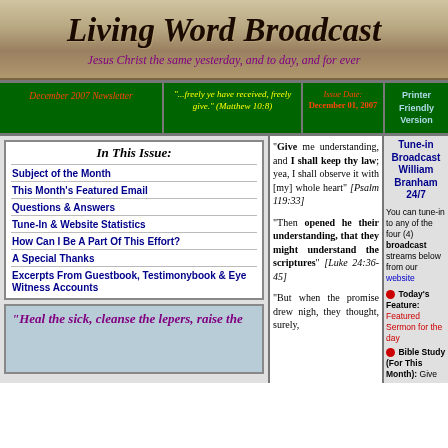[Figure (illustration): Living Word Broadcast banner with scroll design, title in italic bold dark text, subtitle in purple italic text]
Living Word Broadcast
Jesus Christ the same yesterday, and to day, and for ever
December 2007 Newsletter | "...freely ye have received, freely give." (Matthew 10:8) | Issue Date: December 01, 2007 | Printer Friendly Version
In This Issue:
Subject of the Month
This Month's Featured Email
Questions & Answers
Tune-In & Website Statistics
How Can I Be A Part Of This Effort?
A Special Thanks
Excerpts From Guestbook, Testimonybook & Eye Witness Accounts
"Heal the sick, cleanse the lepers, raise the
"Give me understanding, and I shall keep thy law; yea, I shall observe it with [my] whole heart" [Psalm 119:33]
"Then opened he their understanding, that they might understand the scriptures" [Luke 24:36-45]
"But when the promise drew nigh, they thought, surely,
Tune-in Broadcast William Branham 24/7
You can tune-in to any of the four (4) broadcast streams below from our website
Today's Feature: Featured Sermon for the day
Bible Study (For This Month): Give